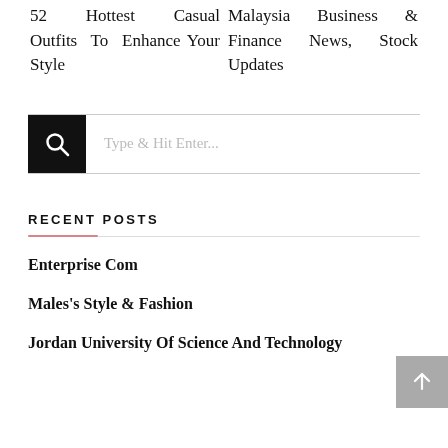52 Hottest Casual Outfits To Enhance Your Style
Malaysia Business & Finance News, Stock Updates
Type & Hit Enter...
RECENT POSTS
Enterprise Com
Males's Style & Fashion
Jordan University Of Science And Technology